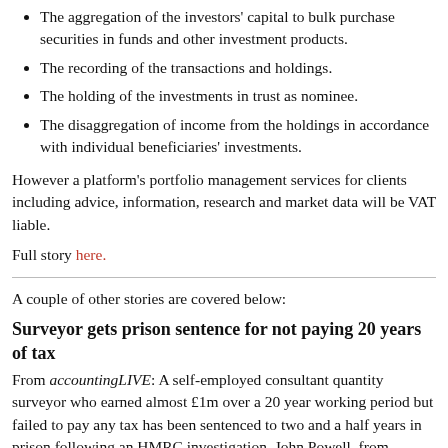The aggregation of the investors' capital to bulk purchase securities in funds and other investment products.
The recording of the transactions and holdings.
The holding of the investments in trust as nominee.
The disaggregation of income from the holdings in accordance with individual beneficiaries' investments.
However a platform's portfolio management services for clients including advice, information, research and market data will be VAT liable.
Full story here.
A couple of other stories are covered below:
Surveyor gets prison sentence for not paying 20 years of tax
From accountingLIVE: A self-employed consultant quantity surveyor who earned almost £1m over a 20 year working period but failed to pay any tax has been sentenced to two and a half years in prison following an HMRC investigation. John Powell, from